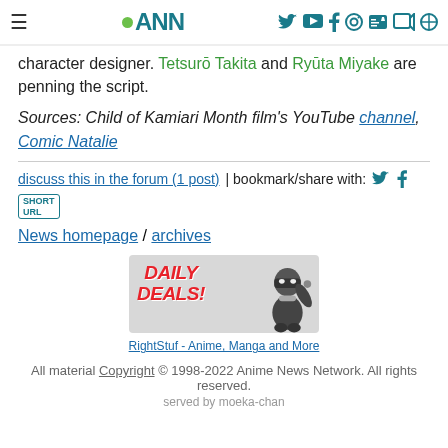≡  ●ANN  [social icons]
character designer. Tetsurō Takita and Ryūta Miyake are penning the script.
Sources: Child of Kamiari Month film's YouTube channel, Comic Natalie
discuss this in the forum (1 post) | bookmark/share with: [twitter] [facebook] SHORT URL
News homepage / archives
[Figure (illustration): Daily Deals advertisement banner with red text and ninja character for RightStuf - Anime, Manga and More]
RightStuf - Anime, Manga and More
All material Copyright © 1998-2022 Anime News Network. All rights reserved.
served by moeka-chan